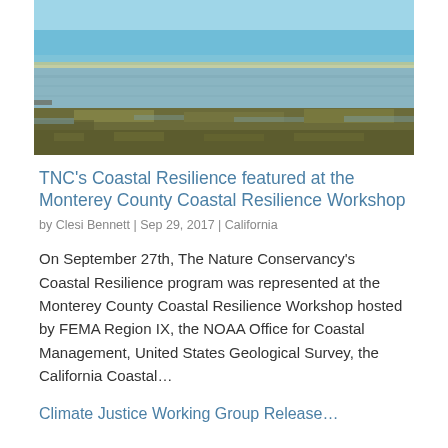[Figure (photo): Aerial view of a coastal wetland area with water channels, marsh vegetation, and ocean in the background under a clear blue sky.]
TNC's Coastal Resilience featured at the Monterey County Coastal Resilience Workshop
by Clesi Bennett | Sep 29, 2017 | California
On September 27th, The Nature Conservancy's Coastal Resilience program was represented at the Monterey County Coastal Resilience Workshop hosted by FEMA Region IX, the NOAA Office for Coastal Management, United States Geological Survey, the California Coastal...
Climate Justice Working Group Release...